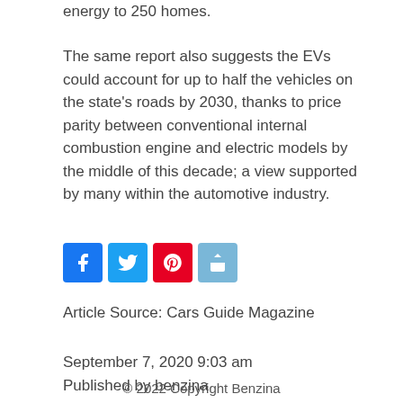energy to 250 homes.
The same report also suggests the EVs could account for up to half the vehicles on the state's roads by 2030, thanks to price parity between conventional internal combustion engine and electric models by the middle of this decade; a view supported by many within the automotive industry.
[Figure (other): Social media share buttons: Facebook, Twitter, Pinterest, Share]
Article Source: Cars Guide Magazine
September 7, 2020 9:03 am
Published by benzina
© 2022 Copyright Benzina